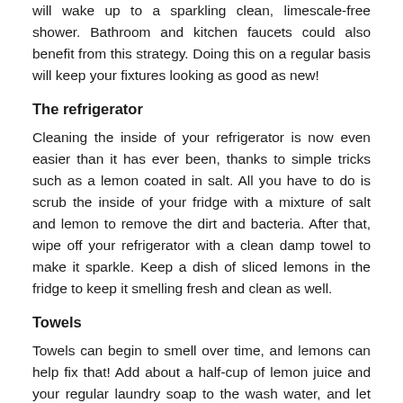will wake up to a sparkling clean, limescale-free shower. Bathroom and kitchen faucets could also benefit from this strategy. Doing this on a regular basis will keep your fixtures looking as good as new!
The refrigerator
Cleaning the inside of your refrigerator is now even easier than it has ever been, thanks to simple tricks such as a lemon coated in salt. All you have to do is scrub the inside of your fridge with a mixture of salt and lemon to remove the dirt and bacteria. After that, wipe off your refrigerator with a clean damp towel to make it sparkle. Keep a dish of sliced lemons in the fridge to keep it smelling fresh and clean as well.
Towels
Towels can begin to smell over time, and lemons can help fix that! Add about a half-cup of lemon juice and your regular laundry soap to the wash water, and let your machine agitate or mix for a few seconds before adding your organic cotton